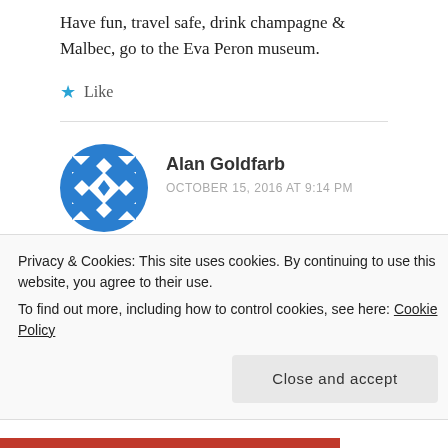Have fun, travel safe, drink champagne & Malbec, go to the Eva Peron museum.
★ Like
Alan Goldfarb
OCTOBER 15, 2016 AT 9:14 PM
Don't forget to come back, and to mail in your absentee ballot before you leave.. And take along your sweatshirt
Privacy & Cookies: This site uses cookies. By continuing to use this website, you agree to their use.
To find out more, including how to control cookies, see here: Cookie Policy
Close and accept